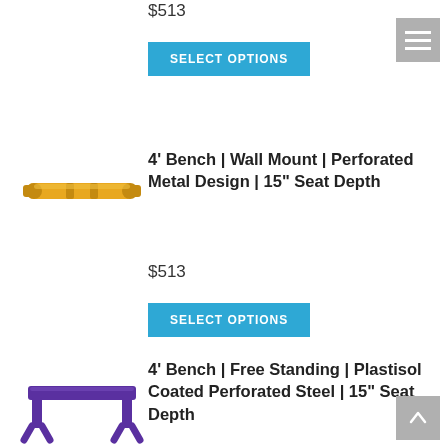$513
SELECT OPTIONS
[Figure (photo): Yellow wall-mount bench product image, horizontal orientation]
4' Bench | Wall Mount | Perforated Metal Design | 15" Seat Depth
$513
SELECT OPTIONS
[Figure (photo): Purple free-standing bench product image]
4' Bench | Free Standing | Plastisol Coated Perforated Steel | 15" Seat Depth